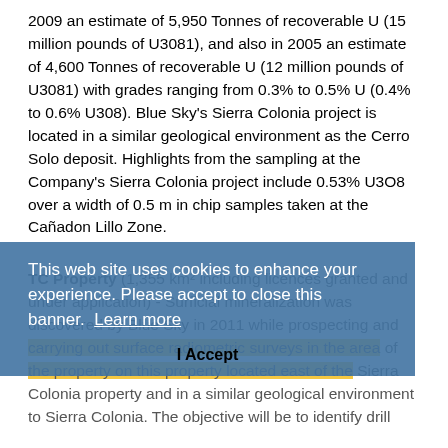2009 an estimate of 5,950 Tonnes of recoverable U (15 million pounds of U3081), and also in 2005 an estimate of 4,600 Tonnes of recoverable U (12 million pounds of U3081) with grades ranging from 0.3% to 0.5% U (0.4% to 0.6% U308). Blue Sky's Sierra Colonia project is located in a similar geological environment as the Cerro Solo deposit. Highlights from the sampling at the Company's Sierra Colonia project include 0.53% U3O8 over a width of 0.5 m in chip samples taken at the Cañadon Lillo Zone.
TC Property (1,355 km² including licences granted and under application) - Surficial mineralization was discovered by Blue Sky in 2011 while prospecting and carrying out surface radiometric surveys in the area of the property on this property located east of the Sierra Colonia property and in a similar geological environment to Sierra Colonia. The objective will be to identify drill
This web site uses cookies to enhance your experience. Please accept to close this banner. Learn more
I Accept